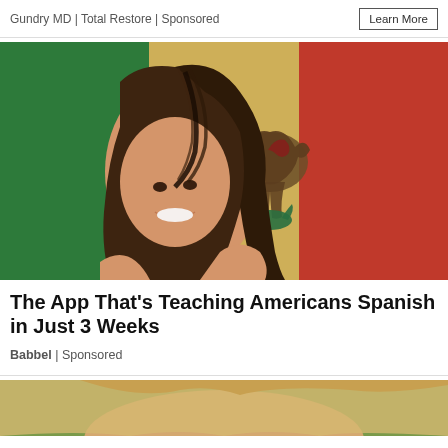Gundry MD | Total Restore | Sponsored
Learn More
[Figure (photo): Woman with flowing brown hair smiling in front of a Mexican flag]
The App That’s Teaching Americans Spanish in Just 3 Weeks
Babbel | Sponsored
[Figure (photo): Partial view of a person with blonde hair at the bottom of the page]